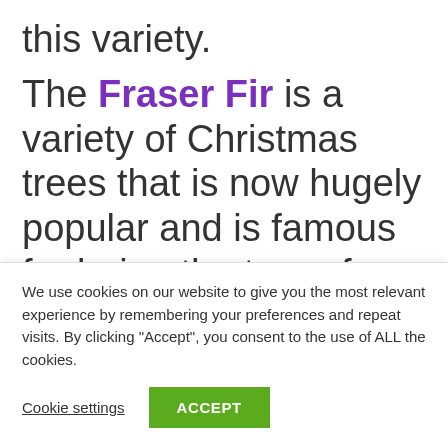this variety.
The Fraser Fir is a variety of Christmas trees that is now hugely popular and is famous for being the tree of choice for the White House in the United States! The shape is usually extremely full and compact from top to bottom. They can be
We use cookies on our website to give you the most relevant experience by remembering your preferences and repeat visits. By clicking “Accept”, you consent to the use of ALL the cookies.
Cookie settings
ACCEPT